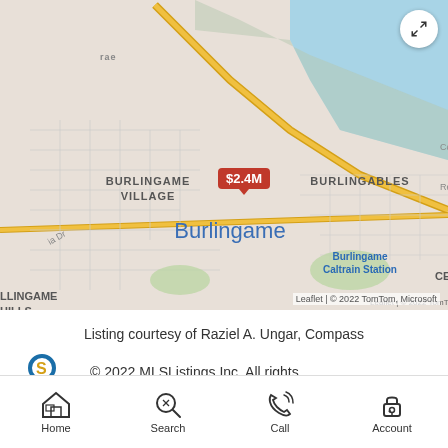[Figure (map): Interactive map showing Burlingame area with a $2.4M property listing pin. Shows Burlingame Village, Burlingame, Burlingame Caltrain Station, Burlingables, and surrounding neighborhoods. Map data from TomTom and Microsoft via Leaflet.]
Listing courtesy of Raziel A. Ungar, Compass
© 2022 MLSListings Inc. All rights
Home  Search  Call  Account